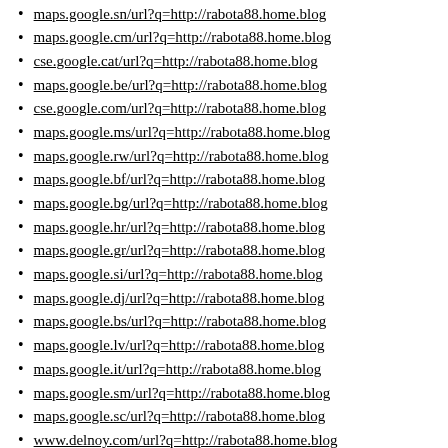maps.google.sn/url?q=http://rabota88.home.blog
maps.google.cm/url?q=http://rabota88.home.blog
cse.google.cat/url?q=http://rabota88.home.blog
maps.google.be/url?q=http://rabota88.home.blog
cse.google.com/url?q=http://rabota88.home.blog
maps.google.ms/url?q=http://rabota88.home.blog
maps.google.rw/url?q=http://rabota88.home.blog
maps.google.bf/url?q=http://rabota88.home.blog
maps.google.bg/url?q=http://rabota88.home.blog
maps.google.hr/url?q=http://rabota88.home.blog
maps.google.gr/url?q=http://rabota88.home.blog
maps.google.si/url?q=http://rabota88.home.blog
maps.google.dj/url?q=http://rabota88.home.blog
maps.google.bs/url?q=http://rabota88.home.blog
maps.google.lv/url?q=http://rabota88.home.blog
maps.google.it/url?q=http://rabota88.home.blog
maps.google.sm/url?q=http://rabota88.home.blog
maps.google.sc/url?q=http://rabota88.home.blog
www.delnoy.com/url?q=http://rabota88.home.blog